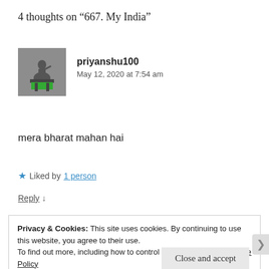4 thoughts on “667. My India”
priyanshu100
May 12, 2020 at 7:54 am
mera bharat mahan hai
★ Liked by 1 person
Reply ↓
Privacy & Cookies: This site uses cookies. By continuing to use this website, you agree to their use.
To find out more, including how to control cookies, see here: Cookie Policy
Close and accept